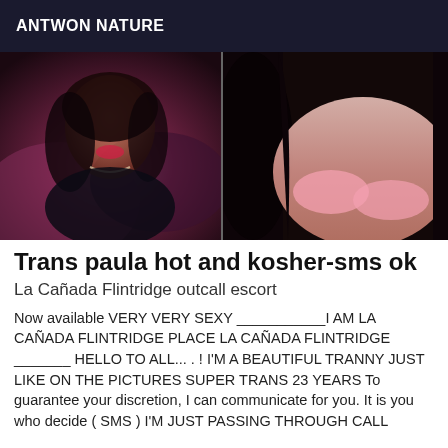ANTWON NATURE
[Figure (photo): Two side-by-side photos: left shows a woman lying back with dark hair and red lips wearing black lingerie; right shows a close-up of a woman's chest in a pink bra with long dark hair.]
Trans paula hot and kosher-sms ok
La Cañada Flintridge outcall escort
Now available VERY VERY SEXY ___________I AM LA CAÑADA FLINTRIDGE PLACE LA CAÑADA FLINTRIDGE _______ HELLO TO ALL... . ! I'M A BEAUTIFUL TRANNY JUST LIKE ON THE PICTURES SUPER TRANS 23 YEARS To guarantee your discretion, I can communicate for you. It is you who decide ( SMS ) I'M JUST PASSING THROUGH CALL